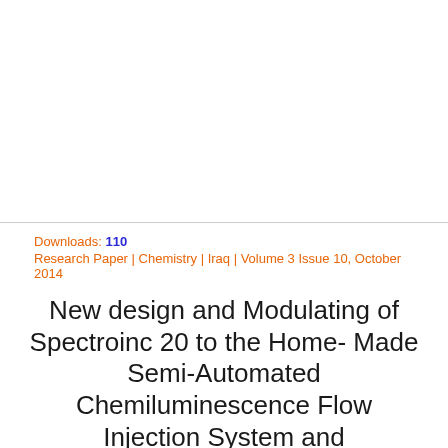Downloads: 110
Research Paper | Chemistry | Iraq | Volume 3 Issue 10, October 2014
New design and Modulating of Spectroinc 20 to the Home- Made Semi-Automated Chemiluminescence Flow Injection System and Determination of Hydrogen Peroxide in Pharmaceutical Formulations